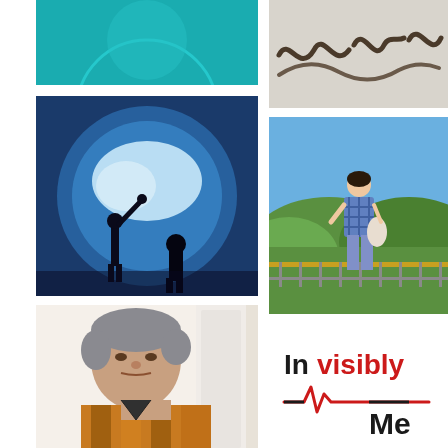[Figure (photo): Top-left: teal/turquoise background with partial circular shape visible at top]
[Figure (photo): Top-right: close-up photo of squiggly dark lines drawn on a light surface]
[Figure (photo): Middle-left: photo of a child and silhouette pressing against a large aquarium bubble window with blue water/beluga whale visible]
[Figure (photo): Middle-right: photo of a woman standing at a railing overlook with green hills and blue sky in background]
[Figure (photo): Bottom-left: selfie photo of a middle-aged man with grey hair wearing a patterned shirt]
[Figure (logo): Bottom-right: Invisibly Me logo with black and red text and a heartbeat line graphic]